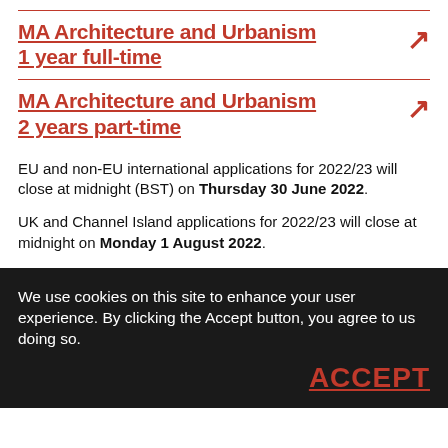MA Architecture and Urbanism
1 year full-time
MA Architecture and Urbanism
2 years part-time
EU and non-EU international applications for 2022/23 will close at midnight (BST) on Thursday 30 June 2022.
UK and Channel Island applications for 2022/23 will close at midnight on Monday 1 August 2022.
We use cookies on this site to enhance your user experience. By clicking the Accept button, you agree to us doing so.
ACCEPT